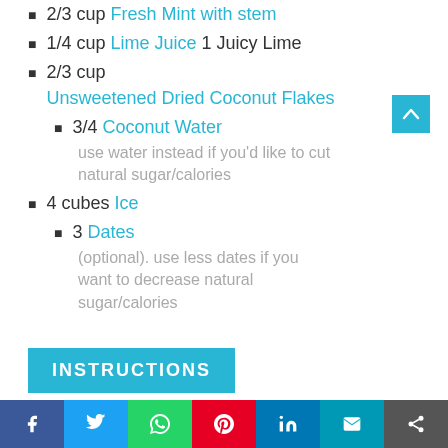2/3 cup Fresh Mint with stem
1/4 cup Lime Juice 1 Juicy Lime
2/3 cup Unsweetened Dried Coconut Flakes
3/4 Coconut Water — use water instead if you'd like to cut natural sugar/calories
4 cubes Ice
3 Dates — (optional). use less dates if you want to decrease natural sugar/calories
INSTRUCTIONS
1. Rinse mint and limes thoroughly. Set aside.
2. Roll and massage lime before